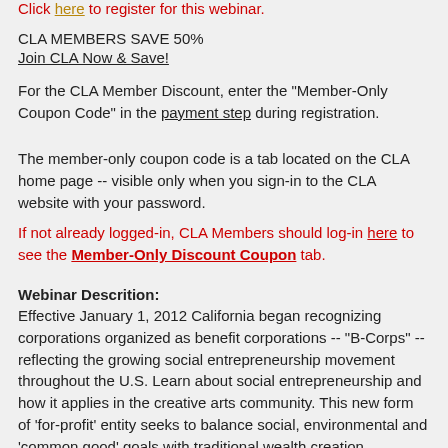Click here to register for this webinar.
CLA MEMBERS SAVE 50%
Join CLA Now & Save!
For the CLA Member Discount, enter the "Member-Only Coupon Code" in the payment step during registration.
The member-only coupon code is a tab located on the CLA home page -- visible only when you sign-in to the CLA website with your password.
If not already logged-in, CLA Members should log-in here to see the Member-Only Discount Coupon tab.
Webinar Descrition:
Effective January 1, 2012 California began recognizing corporations organized as benefit corporations -- "B-Corps" -- reflecting the growing social entrepreneurship movement throughout the U.S. Learn about social entrepreneurship and how it applies in the creative arts community. This new form of 'for-profit' entity seeks to balance social, environmental and 'common good' goals with traditional wealth creation. Discover if a B-Corporation is a good fit for your creative arts endeavors.